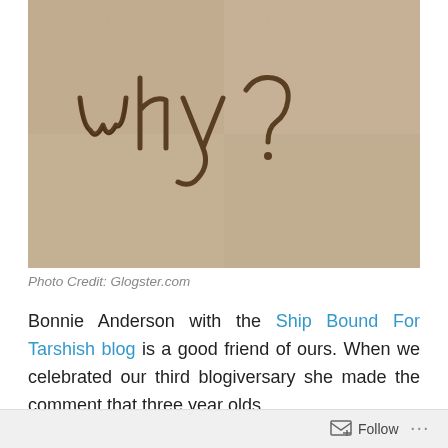[Figure (photo): A sepia-toned photograph of the word 'why?' written in sand on a beach, with stylized cursive lettering traced into the sand.]
Photo Credit: Glogster.com
Bonnie Anderson with the Ship Bound For Tarshish blog is a good friend of ours. When we celebrated our third blogiversary she made the comment that three year olds